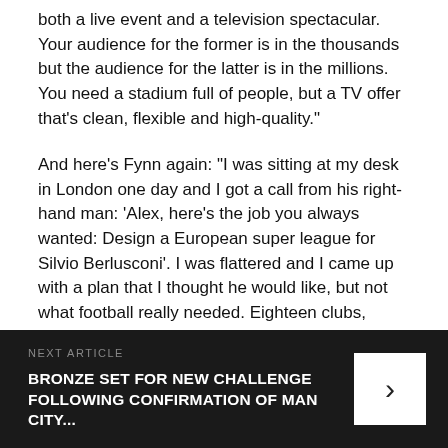both a live event and a television spectacular. Your audience for the former is in the thousands but the audience for the latter is in the millions. You need a stadium full of people, but a TV offer that's clean, flexible and high-quality."
And here's Fynn again: "I was sitting at my desk in London one day and I got a call from his right-hand man: 'Alex, here's the job you always wanted: Design a European super league for Silvio Berlusconi'. I was flattered and I came up with a plan that I thought he would like, but not what football really needed. Eighteen clubs, chosen on merit, history and fanbase."
So, you know. Could have been a whole lot worse.
NEXT ARTICLE
BRONZE SET FOR NEW CHALLENGE FOLLOWING CONFIRMATION OF MAN CITY...